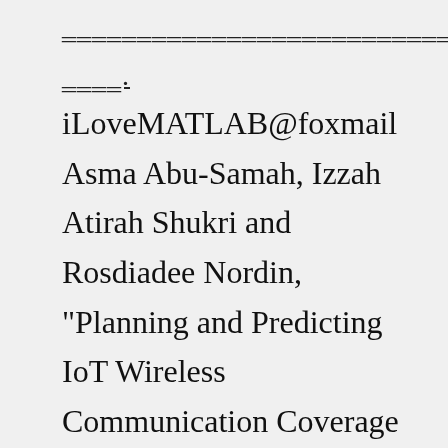iLoveMATLAB@foxmail Asma Abu-Samah, Izzah Atirah Shukri and Rosdiadee Nordin, "Planning and Predicting IoT Wireless Communication Coverage Based On Three Applications In Kuala Lumpur City", 2021 26th IEEE Asia-Pacific Conference on Communications (APCC), 2021, pp This version has a correction term to improve admissibility The CWT and the discrete wavelet transforms differ in how